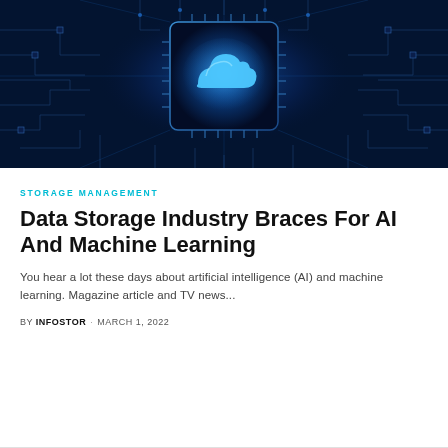[Figure (photo): Dark blue circuit board background with a glowing blue cloud icon on a chip in the center, radiating light lines]
STORAGE MANAGEMENT
Data Storage Industry Braces For AI And Machine Learning
You hear a lot these days about artificial intelligence (AI) and machine learning. Magazine article and TV news...
BY INFOSTOR · MARCH 1, 2022